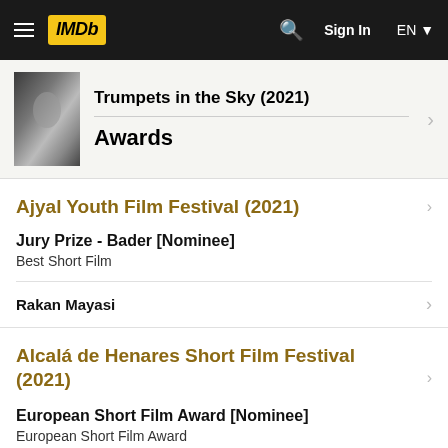IMDb — Sign In — EN
Trumpets in the Sky (2021)
Awards
Ajyal Youth Film Festival (2021)
Jury Prize - Bader [Nominee]
Best Short Film
Rakan Mayasi
Alcalá de Henares Short Film Festival (2021)
European Short Film Award [Nominee]
European Short Film Award